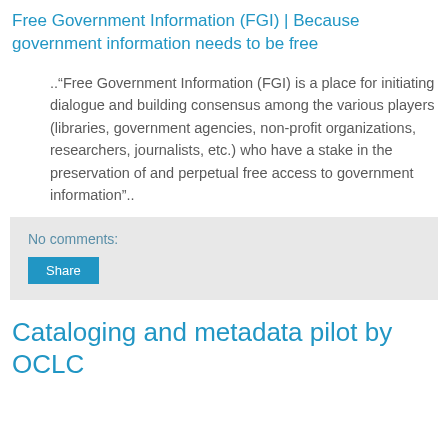Free Government Information (FGI) | Because government information needs to be free
.."Free Government Information (FGI) is a place for initiating dialogue and building consensus among the various players (libraries, government agencies, non-profit organizations, researchers, journalists, etc.) who have a stake in the preservation of and perpetual free access to government information"..
No comments:
Share
Cataloging and metadata pilot by OCLC